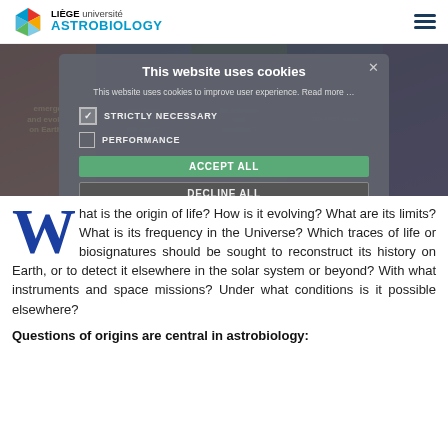LIÈGE université ASTROBIOLOGY
[Figure (screenshot): Astrobiology website screenshot showing a grid of space/biology images with text overlays about life on Earth, conditions for life, detection of biosignatures, and TRAPPIST space mission. A cookie consent overlay dialog is displayed on top.]
What is the origin of life? How is it evolving? What are its limits? What is its frequency in the Universe? Which traces of life or biosignatures should be sought to reconstruct its history on Earth, or to detect it elsewhere in the solar system or beyond? With what instruments and space missions? Under what conditions is it possible elsewhere?
Questions of origins are central in astrobiology: